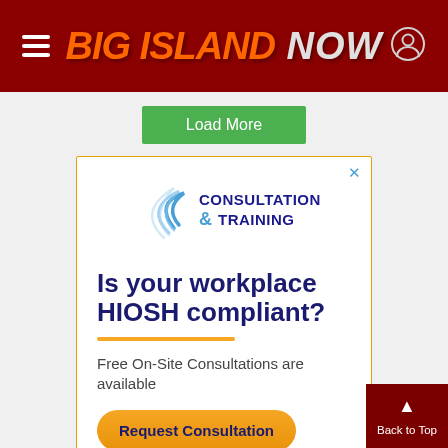BIG ISLAND NOW
Load More
[Figure (advertisement): Consultation & Training advertisement with logo, headline 'Is your workplace HIOSH compliant?', orange divider, subtext 'Free On-Site Consultations are available', and orange 'Request Consultation' CTA button]